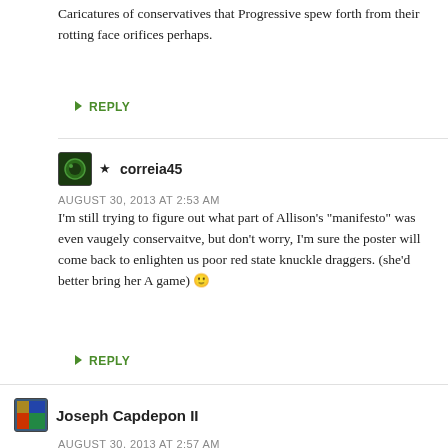Caricatures of conservatives that Progressive spew forth from their rotting face orifices perhaps.
↳ REPLY
★ correia45
AUGUST 30, 2013 AT 2:53 AM
I'm still trying to figure out what part of Allison's "manifesto" was even vaugely conservaitve, but don't worry, I'm sure the poster will come back to enlighten us poor red state knuckle draggers. (she'd better bring her A game) 🙂
↳ REPLY
Joseph Capdepon II
AUGUST 30, 2013 AT 2:57 AM